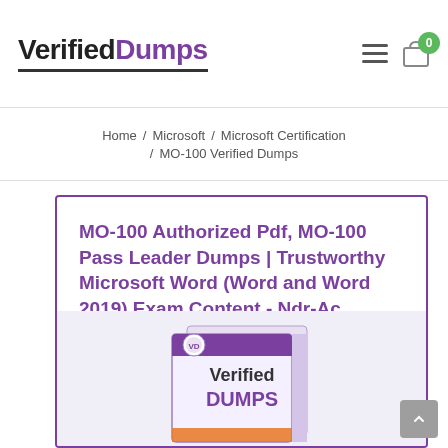VerifiedDumps
Home / Microsoft / Microsoft Certification / MO-100 Verified Dumps
MO-100 Authorized Pdf, MO-100 Pass Leader Dumps | Trustworthy Microsoft Word (Word and Word 2019) Exam Content - Ndr-Ac
[Figure (illustration): Product box showing VerifiedDumps branding with 'Verified DUMPS' text on box packaging]